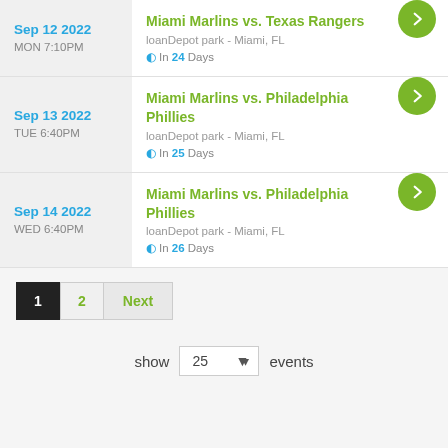Sep 12 2022 MON 7:10PM — Miami Marlins vs. Texas Rangers — loanDepot park - Miami, FL — In 24 Days
Sep 13 2022 TUE 6:40PM — Miami Marlins vs. Philadelphia Phillies — loanDepot park - Miami, FL — In 25 Days
Sep 14 2022 WED 6:40PM — Miami Marlins vs. Philadelphia Phillies — loanDepot park - Miami, FL — In 26 Days
1  2  Next
show 25 events